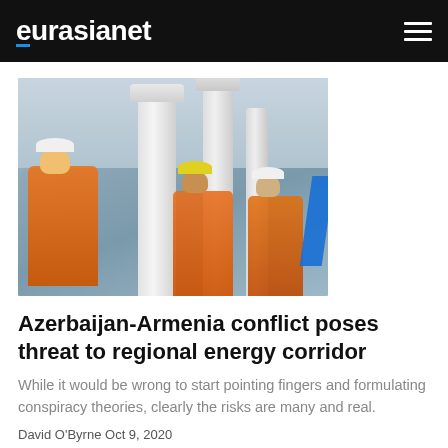eurasianet
[Figure (photo): Workers in orange safety gear and white hard hats working on large white industrial pipeline infrastructure against a partly cloudy sky]
Azerbaijan-Armenia conflict poses threat to regional energy corridor
While it would be wrong to start pointing fingers and formulating conspiracy theories, clearly the risks are many and real.
David O'Byrne Oct 9, 2020
[Figure (photo): Partial view of a second article image, partially cropped at the bottom of the page]